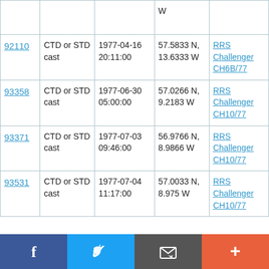| ID | Type | Date/Time | Location | Ship/Cruise |
| --- | --- | --- | --- | --- |
|  |  |  | W |  |
| 92110 | CTD or STD cast | 1977-04-16 20:11:00 | 57.5833 N, 13.6333 W | RRS Challenger CH6B/77 |
| 93358 | CTD or STD cast | 1977-06-30 05:00:00 | 57.0266 N, 9.2183 W | RRS Challenger CH10/77 |
| 93371 | CTD or STD cast | 1977-07-03 09:46:00 | 56.9766 N, 8.9866 W | RRS Challenger CH10/77 |
| 93531 | CTD or STD cast | 1977-07-04 11:17:00 | 57.0033 N, 8.975 W | RRS Challenger CH10/77 |
[Figure (infographic): Social media share bar with Facebook, Twitter, email, and plus buttons]